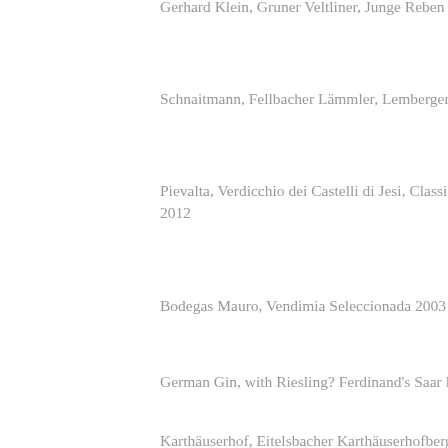Gerhard Klein, Gruner Veltliner, Junge Reben
Schnaitmann, Fellbacher Lämmler, Lemberger
Pievalta, Verdicchio dei Castelli di Jesi, Classico 2012
Bodegas Mauro, Vendimia Seleccionada 2003
German Gin, with Riesling? Ferdinand's Saar R
Karthäuserhof, Eitelsbacher Karthäuserhofberg Spätlese, 2007
Bernhard Huber, Müller-Thurgau Trocken, 201